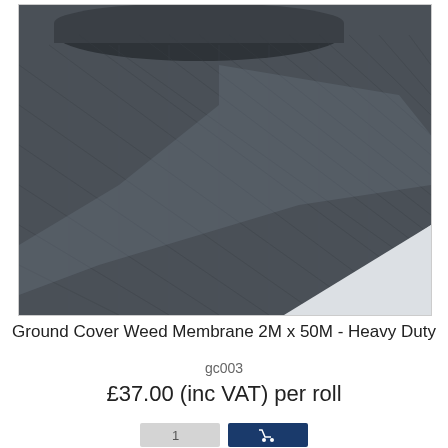[Figure (photo): A roll of dark grey/black woven ground cover weed membrane fabric unrolled diagonally, showing the textured woven surface.]
Ground Cover Weed Membrane 2M x 50M - Heavy Duty
gc003
£37.00 (inc VAT) per roll